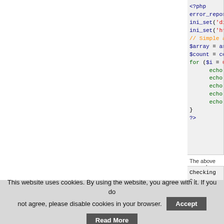[Figure (screenshot): PHP syntax-highlighted code block showing error_reporting, ini_set, array operations with for loop, echo statements]
The above example
[Figure (screenshot): Output box showing: Checking 0: / Notice: Undefin / Bad:]
This website uses cookies. By using the website, you agree with it. If you do not agree, please disable cookies in your browser.